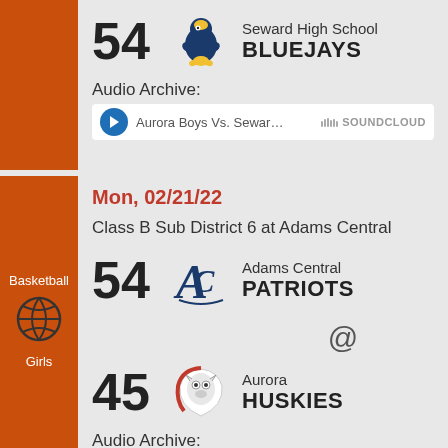[Figure (infographic): Score card: 54, Seward High School Bluejays mascot logo]
Seward High School BLUEJAYS
Audio Archive:
[Figure (screenshot): SoundCloud audio player: Aurora Boys Vs. Sewar...]
Basketball Girls
Mon, 02/21/22
Class B Sub District 6 at Adams Central
[Figure (infographic): Score card: 54, Adams Central Patriots logo]
Adams Central PATRIOTS
@
[Figure (infographic): Score card: 45, Aurora Huskies logo]
Aurora HUSKIES
Audio Archive: